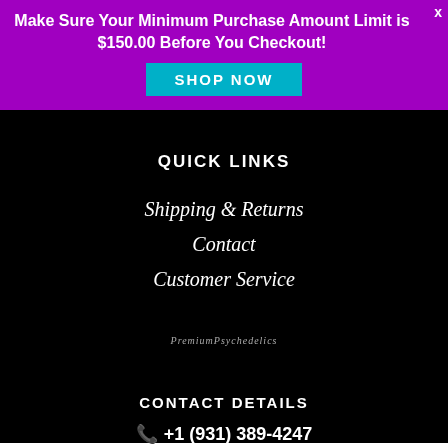Make Sure Your Minimum Purchase Amount Limit is $150.00 Before You Checkout!
SHOP NOW
QUICK LINKS
Shipping & Returns
Contact
Customer Service
PremiumPsychedelics
CONTACT DETAILS
+1 (931) 389-4247